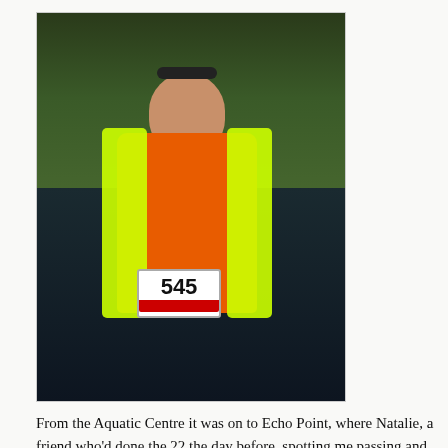[Figure (photo): A man wearing an orange shirt, a yellow/green hi-vis reflective vest, and a headlamp. He is smiling and wearing glasses. He has a race bib numbered 545 with a red stripe. He is standing outdoors at what appears to be a running race event, with trees visible in the background.]
From the Aquatic Centre it was on to Echo Point, where Natalie, a friend who'd done the 22 the day before, spotting me passing and made for an impromptu cheer squad. From there we missed the usual fun of Giant Stairway for a run along the Prince Henry Cliff Walk instead. It was much easier and less technical, and barely much more populated. Some minor bottlenecks formed, so it was a